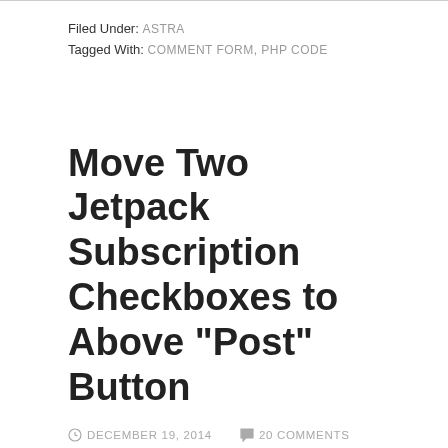Filed Under: ASTRA
Tagged With: COMMENT FORM, PHP CODE
Move Two Jetpack Subscription Checkboxes to Above "Post" Button
DECEMBER 19, 2014   20 COMMENTS
Jetpack is a popular wordpress plugin and lot of wordpress users are using this plugin. This plugin have a module "Jetpack